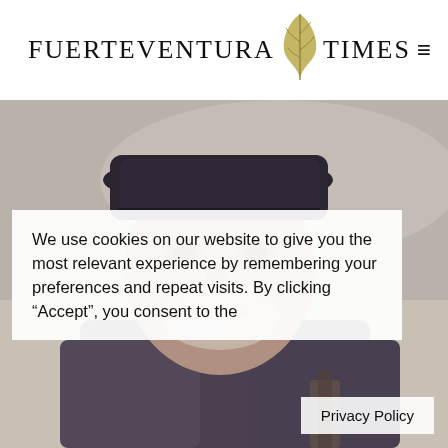FUERTEVENTURA TIMES
[Figure (photo): Close-up photo of an elderly man smiling, wearing a dark hat and jacket, with a blurred outdoor background. Desaturated warm tones.]
We use cookies on our website to give you the most relevant experience by remembering your preferences and repeat visits. By clicking “Accept”, you consent to the
Privacy Policy